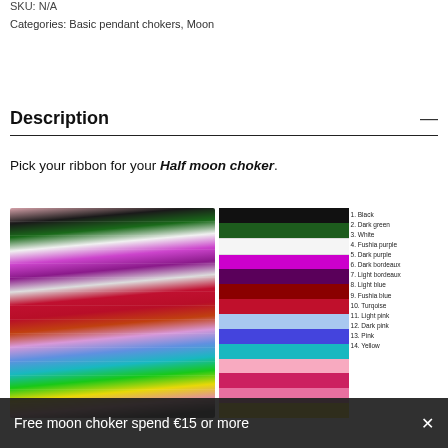SKU: N/A
Categories: Basic pendant chokers, Moon
Description
Pick your ribbon for your Half moon choker.
[Figure (photo): Left: photo of multiple colorful satin ribbons (black, green, white, purple, pink, red, teal, etc.) laid flat and fanned out. Right: color swatch strips showing each ribbon option numbered 1-14 with a legend listing: 1. Black, 2. Dark green, 3. White, 4. Fushia purple, 5. Dark purple, 6. Dark bordeaux, 7. Light bordeaux, 8. Light blue, 9. Fushia blue, 10. Turqoise, 11. Light pink, 12. Dark pink, 13. Pink, 14. Yellow]
Free moon choker spend €15 or more